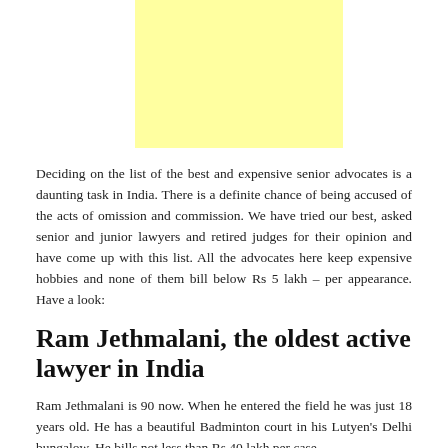[Figure (other): Yellow advertisement/banner block at the top of the page]
Deciding on the list of the best and expensive senior advocates is a daunting task in India. There is a definite chance of being accused of the acts of omission and commission. We have tried our best, asked senior and junior lawyers and retired judges for their opinion and have come up with this list. All the advocates here keep expensive hobbies and none of them bill below Rs 5 lakh – per appearance. Have a look:
Ram Jethmalani, the oldest active lawyer in India
Ram Jethmalani is 90 now. When he entered the field he was just 18 years old. He has a beautiful Badminton court in his Lutyen's Delhi bungalow. He bills not less than Rs 40 lakh per case.
He has successfully defended the Gujarat government in the 2002 riots, Baba Ramdev in the case of police lathicharge at Delhi's Ramlila grounds, the 2G accused, and the Ansals in Delhi's Uphaar cinema tragedy.